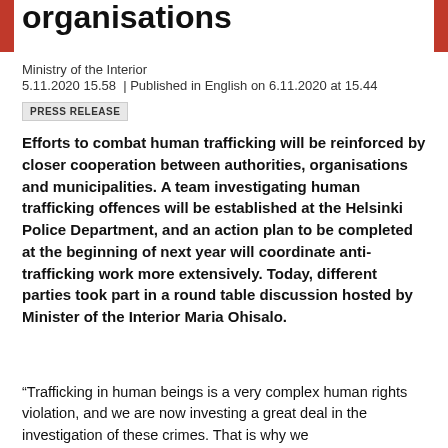organisations
Ministry of the Interior
5.11.2020 15.58  | Published in English on 6.11.2020 at 15.44
PRESS RELEASE
Efforts to combat human trafficking will be reinforced by closer cooperation between authorities, organisations and municipalities. A team investigating human trafficking offences will be established at the Helsinki Police Department, and an action plan to be completed at the beginning of next year will coordinate anti-trafficking work more extensively. Today, different parties took part in a round table discussion hosted by Minister of the Interior Maria Ohisalo.
“Trafficking in human beings is a very complex human rights violation, and we are now investing a great deal in the investigation of these crimes. That is why we